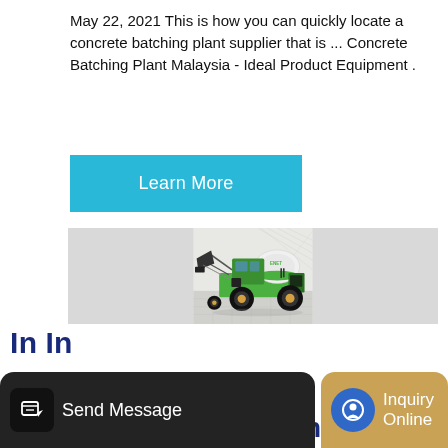May 22, 2021 This is how you can quickly locate a concrete batching plant supplier that is ... Concrete Batching Plant Malaysia - Ideal Product Equipment .
[Figure (other): Learn More button — cyan/teal rectangular button with white text]
[Figure (photo): A green self-loading concrete mixer truck (branded ENET) photographed against a light architectural background with grid-pattern flooring. The machine has a front-loading bucket, rotating drum, and large rubber tyres.]
[Figure (other): Bottom navigation bar with two buttons: 'Send Message' on a dark background with an edit icon, and 'Inquiry Online' on a gold/tan background with a blue circular chat icon]
In Malaysia Batching Plants